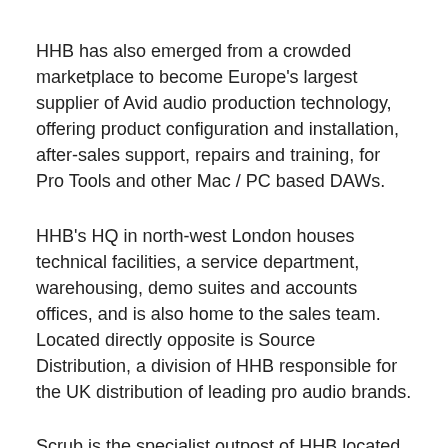HHB has also emerged from a crowded marketplace to become Europe's largest supplier of Avid audio production technology, offering product configuration and installation, after-sales support, repairs and training, for Pro Tools and other Mac / PC based DAWs.
HHB's HQ in north-west London houses technical facilities, a service department, warehousing, demo suites and accounts offices, and is also home to the sales team. Located directly opposite is Source Distribution, a division of HHB responsible for the UK distribution of leading pro audio brands.
Scrub is the specialist outpost of HHB located in the heart of Soho, established to serve the needs of the independent post-production community. And further afield, Canadian audio professionals enjoy similar levels of support from Toronto-